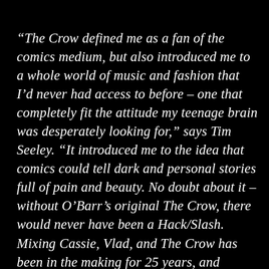“The Crow defined me as a fan of the comics medium, but also introduced me to a whole world of music and fashion that I’d never had access to before – one that completely fit the attitude my teenage brain was desperately looking for,” says Tim Seeley. “It introduced me to the idea that comics could tell dark and personal stories full of pain and beauty. No doubt about it – without O’Barr’s original The Crow, there would never have been a Hack/Slash. Mixing Cassie, Vlad, and The Crow has been in the making for 25 years, and